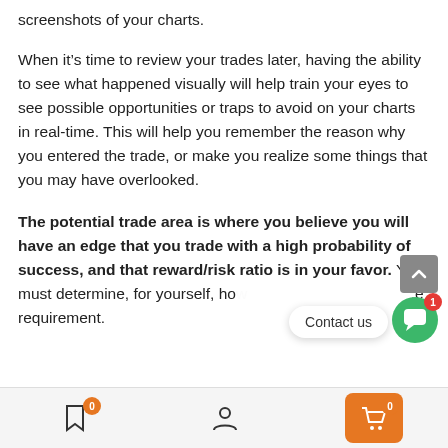screenshots of your charts.
When it’s time to review your trades later, having the ability to see what happened visually will help train your eyes to see possible opportunities or traps to avoid on your charts in real-time. This will help you remember the reason why you entered the trade, or make you realize some things that you may have overlooked.
The potential trade area is where you believe you will have an edge that you trade with a high probability of success, and that reward/risk ratio is in your favor. You must determine, for yourself, ho[w much...] requirement.